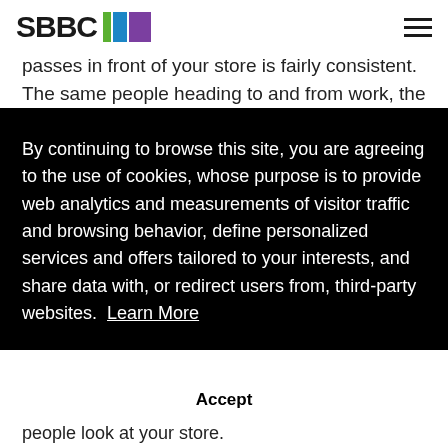SBBC
passes in front of your store is fairly consistent. The same people heading to and from work, the same family heading to school during the week, or the retired couple meeting their friends at the
By continuing to browse this site, you are agreeing to the use of cookies, whose purpose is to provide web analytics and measurements of visitor traffic and browsing behavior, define personalized services and offers tailored to your interests, and share data with, or redirect users from, third-party websites. Learn More
Accept
people look at your store.